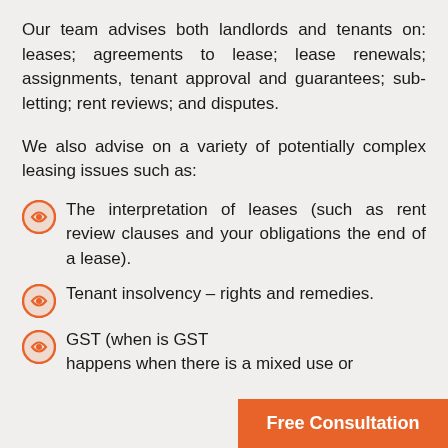Our team advises both landlords and tenants on: leases; agreements to lease; lease renewals; assignments, tenant approval and guarantees; sub-letting; rent reviews; and disputes.
We also advise on a variety of potentially complex leasing issues such as:
The interpretation of leases (such as rent review clauses and your obligations the end of a lease).
Tenant insolvency – rights and remedies.
GST (when is GST happens when there is a mixed use or
Free Consultation